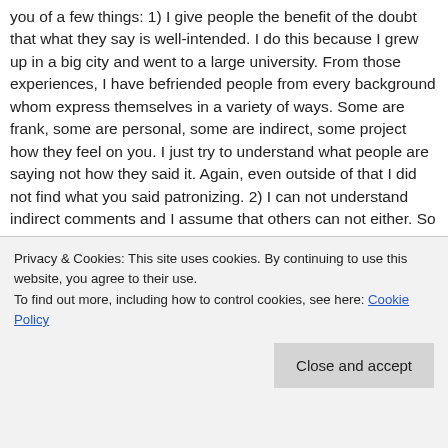you of a few things: 1) I give people the benefit of the doubt that what they say is well-intended. I do this because I grew up in a big city and went to a large university. From those experiences, I have befriended people from every background whom express themselves in a variety of ways. Some are frank, some are personal, some are indirect, some project how they feel on you. I just try to understand what people are saying not how they said it. Again, even outside of that I did not find what you said patronizing. 2) I can not understand indirect comments and I assume that others can not either. So I communicate with a frankness and appreciate it when others are candor. So DO NOT bite
Privacy & Cookies: This site uses cookies. By continuing to use this website, you agree to their use.
To find out more, including how to control cookies, see here: Cookie Policy
Close and accept